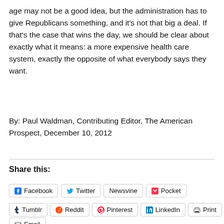age may not be a good idea, but the administration has to give Republicans something, and it's not that big a deal. If that's the case that wins the day, we should be clear about exactly what it means: a more expensive health care system, exactly the opposite of what everybody says they want.
By: Paul Waldman, Contributing Editor, The American Prospect, December 10, 2012
Share this:
Facebook
Twitter
Newsvine
Pocket
Tumblr
Reddit
Pinterest
LinkedIn
Print
Email